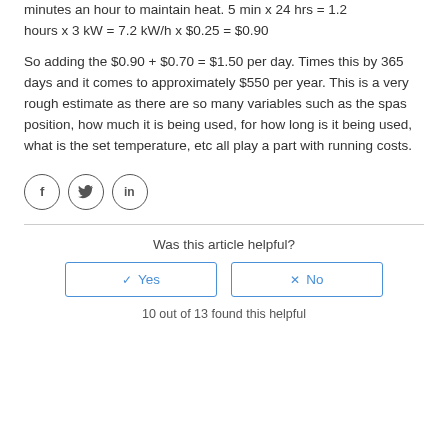minutes an hour to maintain heat. 5 min x 24 hrs = 1.2 hours x 3 kW = 7.2 kW/h x $0.25 = $0.90
So adding the $0.90 + $0.70 = $1.50 per day. Times this by 365 days and it comes to approximately $550 per year. This is a very rough estimate as there are so many variables such as the spas position, how much it is being used, for how long is it being used, what is the set temperature, etc all play a part with running costs.
[Figure (infographic): Three social media icon circles: Facebook (f), Twitter (bird), LinkedIn (in)]
Was this article helpful?
Yes / No buttons
10 out of 13 found this helpful